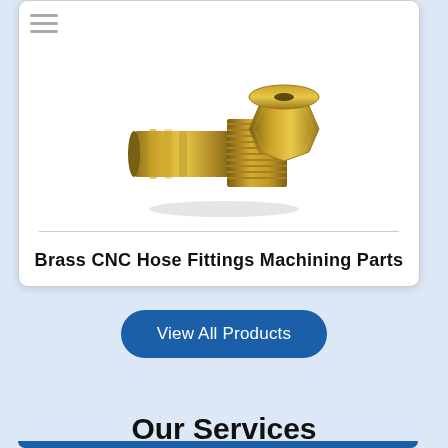[Figure (photo): Brass CNC hose fitting machining part — a cylindrical brass barbed fitting with hexagonal flange head and threaded section, photographed on white background]
Brass CNC Hose Fittings Machining Parts
View All Products
Our Services